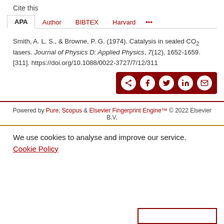Cite this
APA | Author | BIBTEX | Harvard | ...
Smith, A. L. S., & Browne, P. G. (1974). Catalysis in sealed CO₂ lasers. Journal of Physics D: Applied Physics, 7(12), 1652-1659. [311]. https://doi.org/10.1088/0022-3727/7/12/311
[Figure (other): Social share bar with icons: share, Facebook, Twitter, LinkedIn, email on dark red background]
Powered by Pure, Scopus & Elsevier Fingerprint Engine™ © 2022 Elsevier B.V.
We use cookies to analyse and improve our service. Cookie Policy